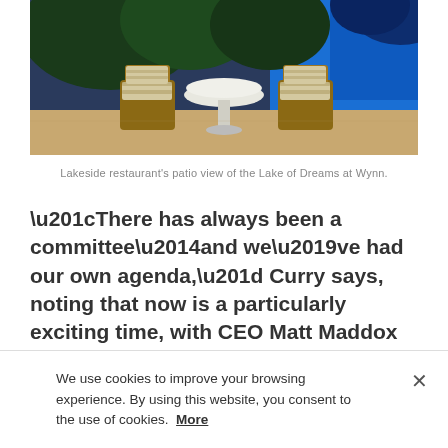[Figure (photo): Outdoor patio with two wicker chairs around a round white table, lush tropical greenery and a bright blue pool/lake visible in the background at Wynn resort.]
Lakeside restaurant's patio view of the Lake of Dreams at Wynn.
“There has always been a committee—and we’ve had our own agenda,” Curry says, noting that now is a particularly exciting time, with CEO Matt Maddox at the helm, for creative work within Wynn Resorts. “It’s like the family grew up and now gets to stand on their own. A lot of really wonderful resources have been unmasked that were just beneath the surface. A
We use cookies to improve your browsing experience. By using this website, you consent to the use of cookies. More